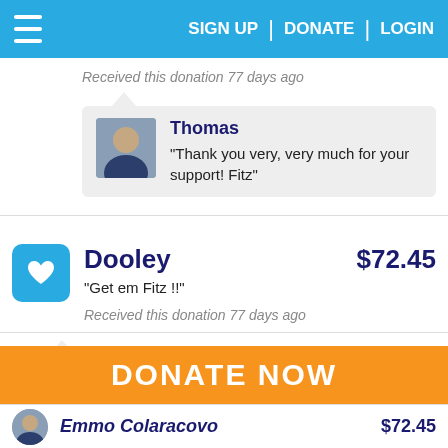SIGN UP | DONATE | LOGIN
Received this donation 77 days ago
Thomas
"Thank you very, very much for your support! Fitz"
Dooley   $72.45
"Get em Fitz !!"
Received this donation 77 days ago
Thomas
"Thank you very very much for your support! Fitz"
DONATE NOW
Emmo Colaracovo   $72.45